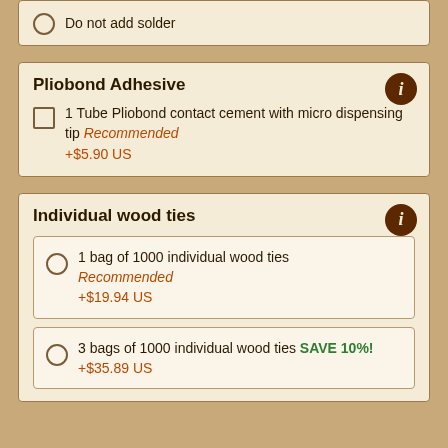Do not add solder
Pliobond Adhesive
1 Tube Pliobond contact cement with micro dispensing tip Recommended +$5.90 US
Individual wood ties
1 bag of 1000 individual wood ties Recommended +$19.94 US
3 bags of 1000 individual wood ties SAVE 10%! +$35.89 US